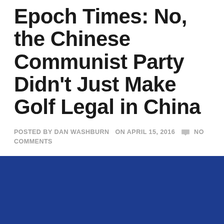Epoch Times: No, the Chinese Communist Party Didn't Just Make Golf Legal in China
POSTED BY DAN WASHBURN  ON APRIL 15, 2016   NO COMMENTS
[Figure (logo): Epoch Times logo on dark blue background — white serif text reading 'EPOCH' partially visible]